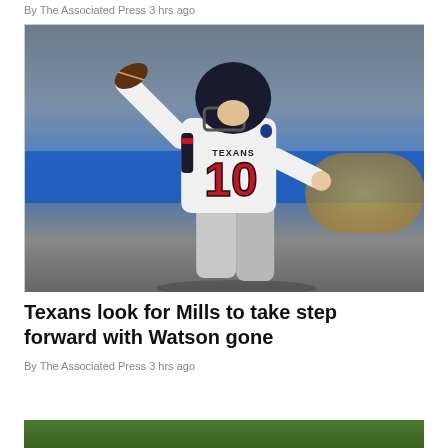By The Associated Press 3 hrs ago
[Figure (photo): Houston Texans quarterback wearing jersey number 10 in a white uniform with red numerals, mid-throw motion during an NFL game, blue stadium advertising banner visible in background.]
Texans look for Mills to take step forward with Watson gone
By The Associated Press 3 hrs ago
[Figure (photo): Partial bottom image showing green field/grass, cropped at bottom of page.]